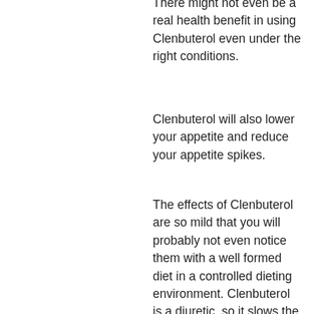There might not even be a real health benefit in using Clenbuterol even under the right conditions.
Clenbuterol will also lower your appetite and reduce your appetite spikes.
The effects of Clenbuterol are so mild that you will probably not even notice them with a well formed diet in a controlled dieting environment. Clenbuterol is a diuretic, so it slows the kidneys. Therefore you could have a higher thirst, and the diuretic effects of Clenbuterol might make you feel thirsty or hungrier! Clenbuterol is also a diuretic - that means it stimulates the kidneys to make more urine - and there may be higher uric acid levels in the urine in a low dose diet.
Clenbuterol is low in Vitamin C, Magnesium, Phosphorus and Potassium.